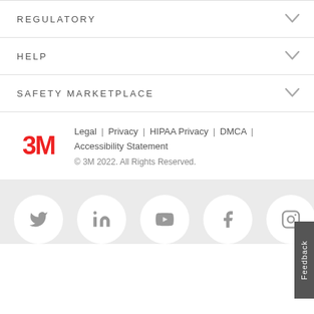REGULATORY
HELP
SAFETY MARKETPLACE
[Figure (logo): 3M red logo]
Legal | Privacy | HIPAA Privacy | DMCA | Accessibility Statement
© 3M 2022. All Rights Reserved.
[Figure (infographic): Social media icons: Twitter, LinkedIn, YouTube, Facebook, Instagram]
Feedback